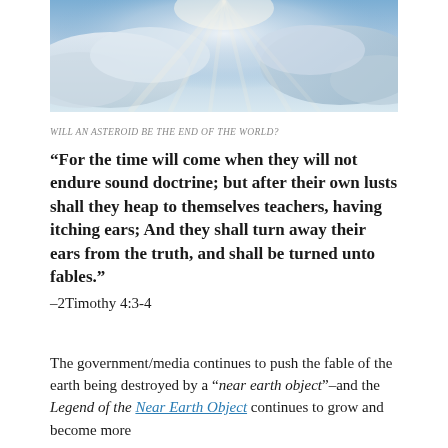[Figure (photo): Sky with sunbeams shining through clouds, blue and white tones]
WILL AN ASTEROID BE THE END OF THE WORLD?
“For the time will come when they will not endure sound doctrine; but after their own lusts shall they heap to themselves teachers, having itching ears; And they shall turn away their ears from the truth, and shall be turned unto fables.” –2Timothy 4:3-4
The government/media continues to push the fable of the earth being destroyed by a “near earth object”–and the Legend of the Near Earth Object continues to grow and become more